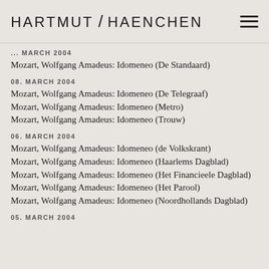HARTMUT / HAENCHEN
... MARCH 2004
Mozart, Wolfgang Amadeus: Idomeneo (De Standaard)
08. MARCH 2004
Mozart, Wolfgang Amadeus: Idomeneo (De Telegraaf)
Mozart, Wolfgang Amadeus: Idomeneo (Metro)
Mozart, Wolfgang Amadeus: Idomeneo (Trouw)
06. MARCH 2004
Mozart, Wolfgang Amadeus: Idomeneo (de Volkskrant)
Mozart, Wolfgang Amadeus: Idomeneo (Haarlems Dagblad)
Mozart, Wolfgang Amadeus: Idomeneo (Het Financieele Dagblad)
Mozart, Wolfgang Amadeus: Idomeneo (Het Parool)
Mozart, Wolfgang Amadeus: Idomeneo (Noordhollands Dagblad)
05. MARCH 2004